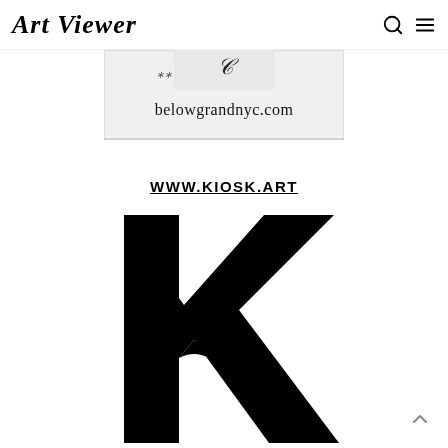Art Viewer
[Figure (screenshot): Partial view of belowgrandnyc.com website logo/image with text 'belowgrandnyc.com']
WWW.KIOSK.ART
[Figure (logo): Large black stylized letter K logo for KIOSK.ART]